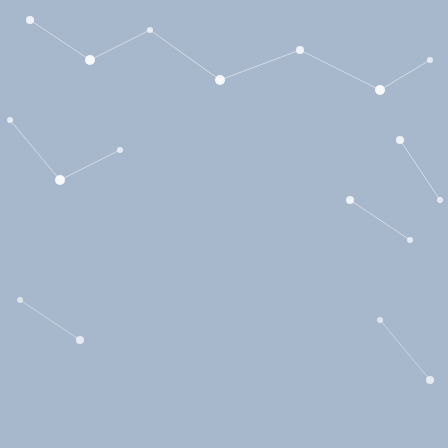Two letters are repeated three times
If you DO figure out the password, don't tell! That gives YOU a greater chance to win!
Go ahead and try some guesses now! But don't worry--if you can't guess the password yet, you're going to get all the letters to unscramble over the course of the next two weeks.
The Line-Up:
| Title | Status | Date |
| --- | --- | --- |
| Across the World Tour: Angela Cerrito--Adventure o... | scheduled | 11/11/10 |
| Across the World Tour: Heather Zundel | scheduled | 11/10/10 |
| Across the World Tour: Angela Ackerman's African A... | scheduled | 11/9/10 |
| Across the World Tour: Shannon Messenger, a Bike, ... | scheduled | 11/8/10 |
| Across the World Tour: The Laura Part of LiLa | scheduled | 11/7/10 |
| Across the World Tour: The Lisa Part of LiLa | scheduled | 11/6/10 |